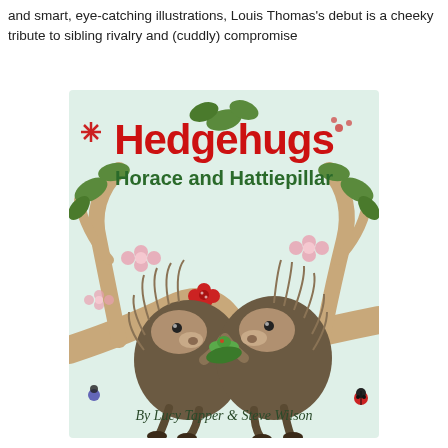and smart, eye-catching illustrations, Louis Thomas's debut is a cheeky tribute to sibling rivalry and (cuddly) compromise
[Figure (illustration): Book cover of 'Hedgehugs: Horace and Hattiepillar' by Lucy Tapper & Steve Wilson. Features two illustrated hedgehogs sitting on tree branches facing each other, with a small caterpillar between them. The background is light mint green with pink flowers, green leaves, and decorative elements. Title 'Hedgehugs' in large red letters, subtitle 'Horace and Hattiepillar' in dark green, author names at the bottom in a handwritten-style font.]